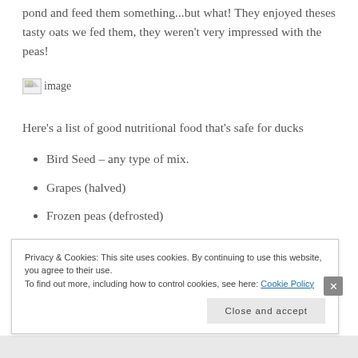pond and feed them something...but what! They enjoyed theses tasty oats we fed them, they weren't very impressed with the peas!
[Figure (photo): Broken image placeholder with 'image' alt text]
Here's a list of good nutritional food that's safe for ducks
Bird Seed – any type of mix.
Grapes (halved)
Frozen peas (defrosted)
Privacy & Cookies: This site uses cookies. By continuing to use this website, you agree to their use.
To find out more, including how to control cookies, see here: Cookie Policy
Close and accept